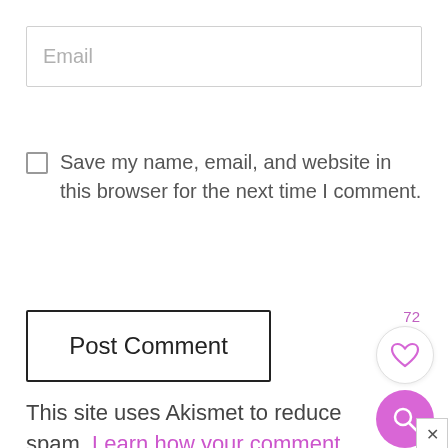[Figure (screenshot): Email input field with placeholder text 'Email' and light gray border]
Save my name, email, and website in this browser for the next time I comment.
Post Comment
72
[Figure (other): Heart icon in white circle (like button with count 72)]
[Figure (other): Search/magnify icon in pink circle]
This site uses Akismet to reduce spam. Learn how your comment data is processed.